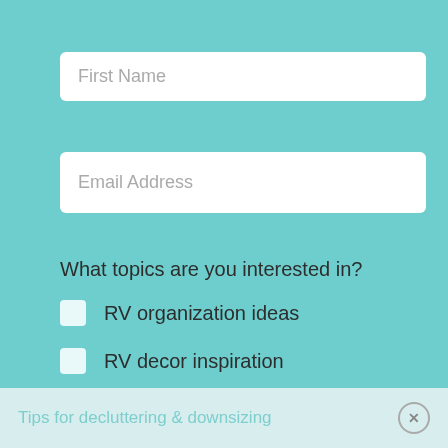First Name
Email Address
What topics are you interested in?
RV organization ideas
RV decor inspiration
RV renovations
Full Time RVing
Jobs you can do while RVing
Tips for buying an RV
Tips for decluttering & downsizing